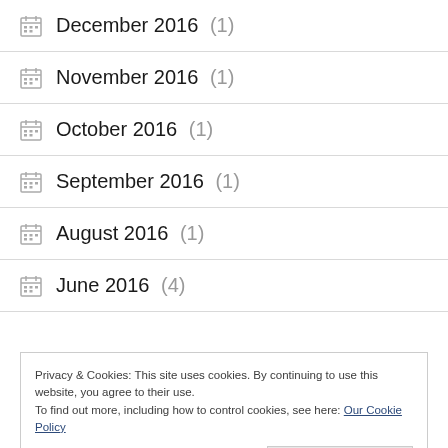December 2016 (1)
November 2016 (1)
October 2016 (1)
September 2016 (1)
August 2016 (1)
June 2016 (4)
Privacy & Cookies: This site uses cookies. By continuing to use this website, you agree to their use.
To find out more, including how to control cookies, see here: Our Cookie Policy
Close and accept